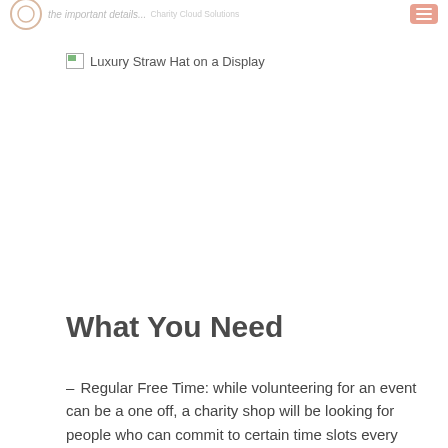the important details... Charity Cloud Solutions
[Figure (photo): Broken image placeholder showing alt text: Luxury Straw Hat on a Display]
What You Need
– Regular Free Time: while volunteering for an event can be a one off, a charity shop will be looking for people who can commit to certain time slots every week. This makes it great